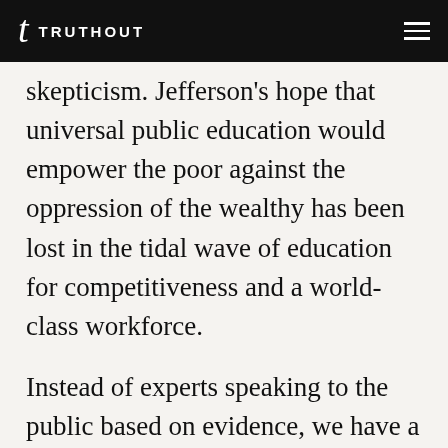TRUTHOUT
skepticism. Jefferson’s hope that universal public education would empower the poor against the oppression of the wealthy has been lost in the tidal wave of education for competitiveness and a world-class workforce.
Instead of experts speaking to the public based on evidence, we have a belief culture guided by celebrity based on wealth (Bill Gates and Oprah) and self-promotion (Michelle Rhee) who speak to our cultural assumptions instead of to the evidence from our society, where school